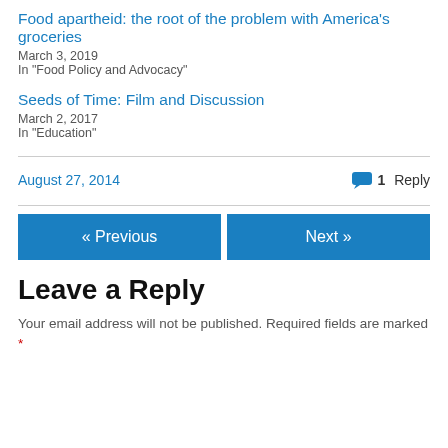Food apartheid: the root of the problem with America's groceries
March 3, 2019
In "Food Policy and Advocacy"
Seeds of Time: Film and Discussion
March 2, 2017
In "Education"
August 27, 2014
1 Reply
« Previous
Next »
Leave a Reply
Your email address will not be published. Required fields are marked *